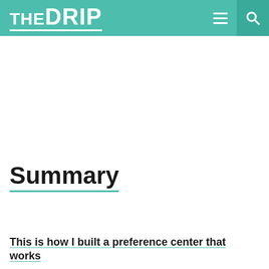THE DRIP
Summary
This is how I built a preference center that works